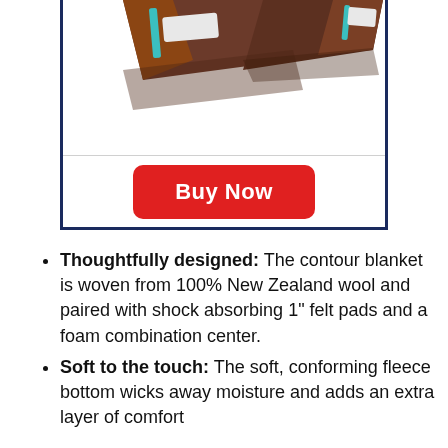[Figure (photo): Partial product image of a contour blanket/saddle pad cropped at the top, showing brown and white product with teal accents, inside a dark navy border box.]
Buy Now
Thoughtfully designed: The contour blanket is woven from 100% New Zealand wool and paired with shock absorbing 1" felt pads and a foam combination center.
Soft to the touch: The soft, conforming fleece bottom wicks away moisture and adds an extra layer of comfort